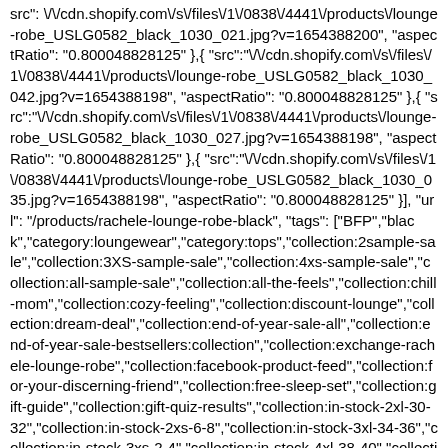src": "\/\/cdn.shopify.com\/s\/files\/1\/0838\/4441\/products\/lounge-robe_USLG0582_black_1030_021.jpg?v=1654388200", "aspectRatio": "0.800048828125" },{ "src":"\/\/cdn.shopify.com\/s\/files\/1\/0838\/4441\/products\/lounge-robe_USLG0582_black_1030_042.jpg?v=1654388198", "aspectRatio": "0.800048828125" },{ "src":"\/\/cdn.shopify.com\/s\/files\/1\/0838\/4441\/products\/lounge-robe_USLG0582_black_1030_027.jpg?v=1654388198", "aspectRatio": "0.800048828125" },{ "src":"\/\/cdn.shopify.com\/s\/files\/1\/0838\/4441\/products\/lounge-robe_USLG0582_black_1030_035.jpg?v=1654388198", "aspectRatio": "0.800048828125" }], "url": "/products/rachele-lounge-robe-black", "tags": ["BFP","black","category:loungewear","category:tops","collection:2sample-sale","collection:3XS-sample-sale","collection:4xs-sample-sale","collection:all-sample-sale","collection:all-the-feels","collection:chill-mom","collection:cozy-feeling","collection:discount-lounge","collection:dream-deal","collection:end-of-year-sale-all","collection:end-of-year-sale-bestsellers:collection","collection:exchange-rachele-lounge-robe","collection:facebook-product-feed","collection:for-your-discerning-friend","collection:free-sleep-set","collection:gift-guide","collection:gift-quiz-results","collection:in-stock-2xl-30-32","collection:in-stock-2xs-6-8","collection:in-stock-3xl-34-36","collection:in-stock-3xs-2-4","collection:in-stock-4xl-38-40","collection:in-stock-4xs-09-9","collection:in-stock-l-22-